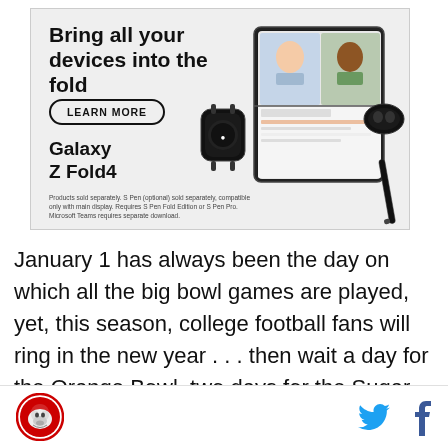[Figure (illustration): Samsung Galaxy Z Fold4 advertisement showing a foldable phone with video call on screen, a smartwatch, earbuds, and S Pen. Text reads 'Bring all your devices into the fold' with a 'LEARN MORE' button and product name 'Galaxy Z Fold4'. Disclaimer text at bottom.]
January 1 has always been the day on which all the big bowl games are played, yet, this season, college football fans will ring in the new year . . . then wait a day for the Orange Bowl, two days for the Sugar Bowl, and a week for the B.C.S. National Championship Game. To . . .
Logo icon | Twitter icon | Facebook icon